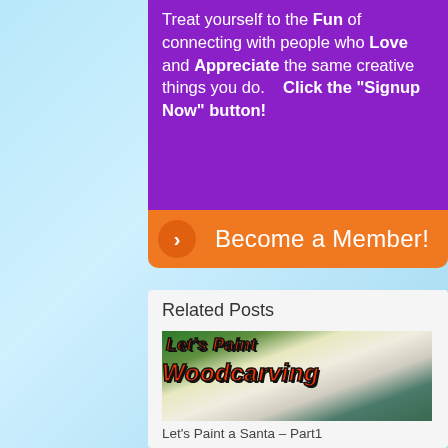Treat yourself to the Fun of connecting with people who Love and Appreciate the same creative things you do.    Click the "Signup Now" button!
Become a Member!
Related Posts
[Figure (photo): Photo of woodcarving project with overlay text reading "Let's Paint a Woodcarving"]
Let's Paint a Santa – Part1